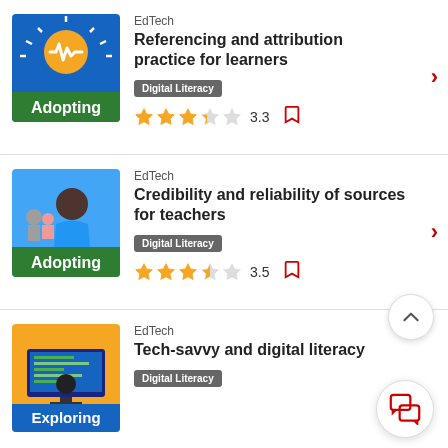[Figure (illustration): EdTech Adopting thumbnail: blue background with orange sun circle and white heartbeat/pulse icon, green banner at bottom reading 'Adopting']
EdTech
Referencing and attribution practice for learners
Digital Literacy
3.3
[Figure (illustration): EdTech Adopting thumbnail: blue background with person sitting at desk viewed from behind, other people in background, green banner at bottom reading 'Adopting']
EdTech
Credibility and reliability of sources for teachers
Digital Literacy
3.5
[Figure (illustration): EdTech Exploring thumbnail: yellow/orange background with person at computer, blue banner at bottom reading 'Exploring']
EdTech
Tech-savvy and digital literacy
Digital Literacy